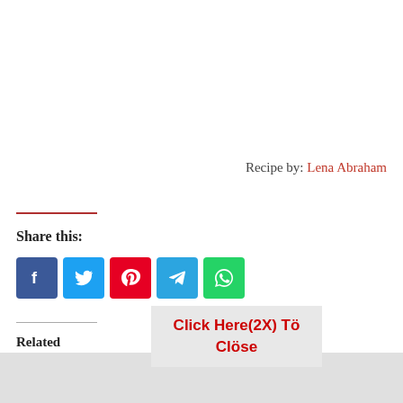Recipe by: Lena Abraham
Share this:
[Figure (other): Social media share buttons: Facebook, Twitter, Pinterest, Telegram, WhatsApp]
Click Here(2X) Tö Clöse
Related